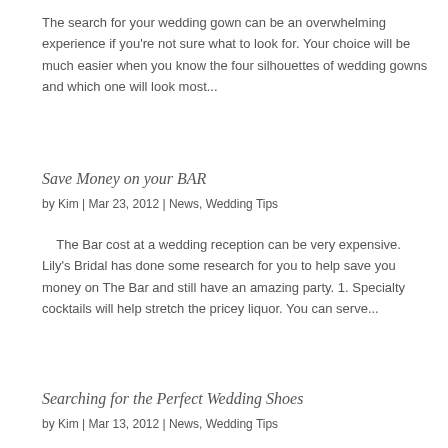The search for your wedding gown can be an overwhelming experience if you're not sure what to look for. Your choice will be much easier when you know the four silhouettes of wedding gowns and which one will look most...
Save Money on your BAR
by Kim | Mar 23, 2012 | News, Wedding Tips
The Bar cost at a wedding reception can be very expensive. Lily's Bridal has done some research for you to help save you money on The Bar and still have an amazing party. 1. Specialty cocktails will help stretch the pricey liquor. You can serve...
Searching for the Perfect Wedding Shoes
by Kim | Mar 13, 2012 | News, Wedding Tips